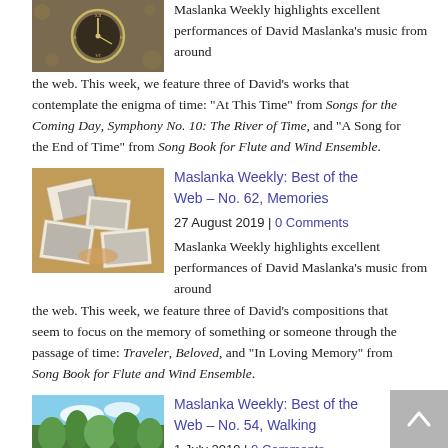[Figure (photo): A clock with gears and bokeh background]
Maslanka Weekly highlights excellent performances of David Maslanka's music from around the web. This week, we feature three of David's works that contemplate the enigma of time: "At This Time" from Songs for the Coming Day, Symphony No. 10: The River of Time, and "A Song for the End of Time" from Song Book for Flute and Wind Ensemble.
[Figure (photo): A pile of old black and white photographs on a table]
Maslanka Weekly: Best of the Web – No. 62, Memories
27 August 2019 | 0 Comments
Maslanka Weekly highlights excellent performances of David Maslanka's music from around the web. This week, we feature three of David's compositions that seem to focus on the memory of something or someone through the passage of time: Traveler, Beloved, and "In Loving Memory" from Song Book for Flute and Wind Ensemble.
[Figure (photo): A person standing in a forest path with trees]
Maslanka Weekly: Best of the Web – No. 54, Walking
1 July 2019 | 0 Comments
Maslanka Weekly highlights